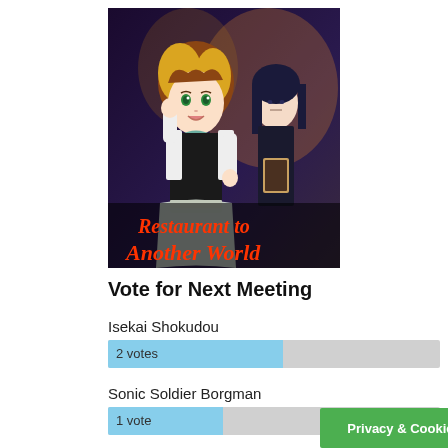[Figure (illustration): Anime illustration for 'Restaurant to Another World' (Isekai Shokudou) showing two anime female characters in a restaurant setting, one with blonde/brown hair and green eyes wearing a black outfit with white skirt, and another with dark blue hair wearing a black dress holding a menu. Red neon-style text at the bottom reads 'Restaurant to Another World'.]
Vote for Next Meeting
Isekai Shokudou
[Figure (bar-chart): Isekai Shokudou votes]
Sonic Soldier Borgman
[Figure (bar-chart): Sonic Soldier Borgman votes]
Privacy & Cookies Policy